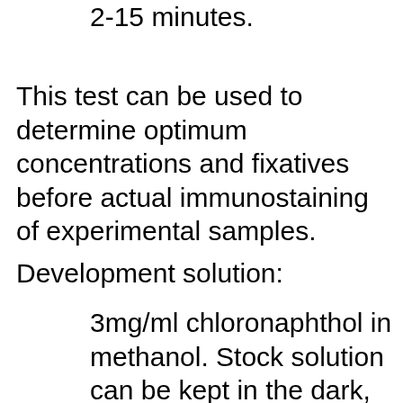2-15 minutes.
This test can be used to determine optimum concentrations and fixatives before actual immunostaining of experimental samples.
Development solution:
3mg/ml chloronaphthol in methanol. Stock solution can be kept in the dark, in the cold, for 1-2 weeks. Discard when signs of